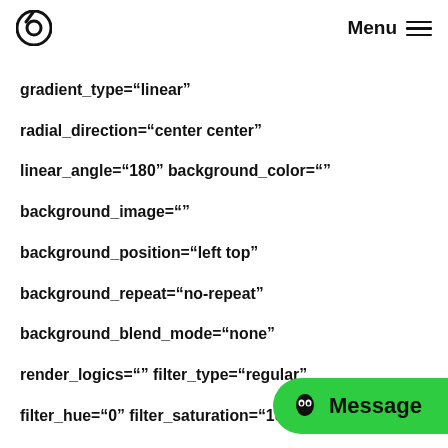Menu
gradient_type="linear"
radial_direction="center center"
linear_angle="180" background_color=""
background_image=""
background_position="left top"
background_repeat="no-repeat"
background_blend_mode="none"
render_logics="" filter_type="regular"
filter_hue="0" filter_saturation="100"
filter_brightness="100"
filter_contrast="100" filter_invert="0"
filter_sepia="0" filter_opac
filter_blur="0" filter_hue_hover="0"